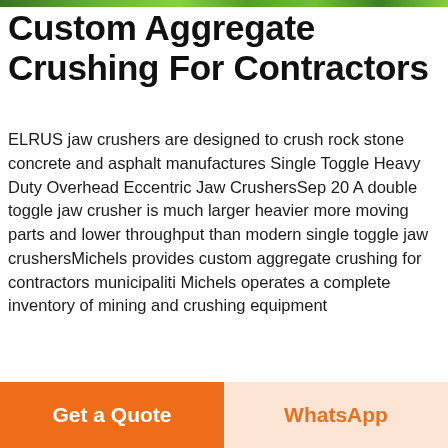[Figure (photo): Green foliage strip at top of page]
Custom Aggregate Crushing For Contractors
ELRUS jaw crushers are designed to crush rock stone concrete and asphalt manufactures Single Toggle Heavy Duty Overhead Eccentric Jaw CrushersSep 20 A double toggle jaw crusher is much larger heavier more moving parts and lower throughput than modern single toggle jaw crushersMichels provides custom aggregate crushing for contractors municipaliti Michels operates a complete inventory of mining and crushing equipment
[Figure (other): Live Chat button (blue)]
[Figure (photo): Industrial factory interior showing large grinding/crushing machine (mill) with steel frame structure]
Get a Quote
WhatsApp